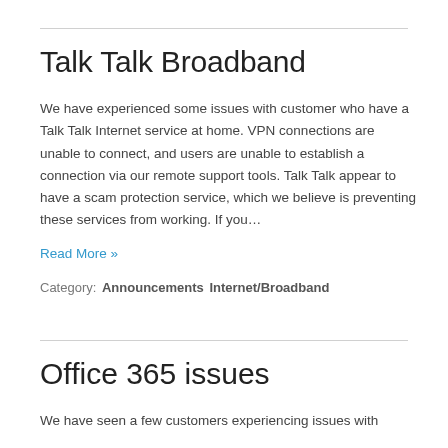Talk Talk Broadband
We have experienced some issues with customer who have a Talk Talk Internet service at home.  VPN connections are unable to connect, and users are unable to establish a connection via our remote support tools. Talk Talk appear to have a scam protection service, which we believe is preventing these services from working.  If you…
Read More »
Category:  Announcements  Internet/Broadband
Office 365 issues
We have seen a few customers experiencing issues with